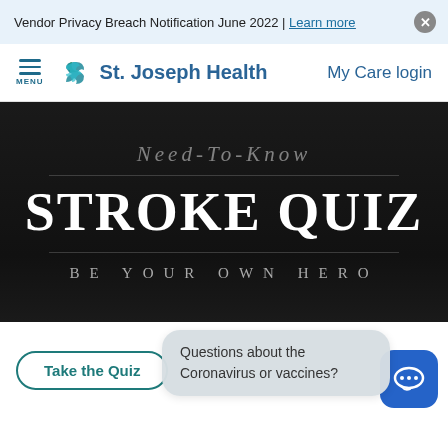Vendor Privacy Breach Notification June 2022 | Learn more
[Figure (logo): St. Joseph Health logo with teal/green cross icon and blue text]
My Care login
[Figure (photo): Dark hero banner with text: Need-To-Know STROKE QUIZ BE YOUR OWN HERO]
Questions about the Coronavirus or vaccines?
Take the Quiz